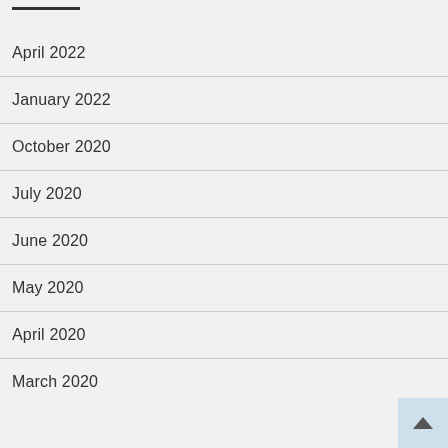April 2022
January 2022
October 2020
July 2020
June 2020
May 2020
April 2020
March 2020